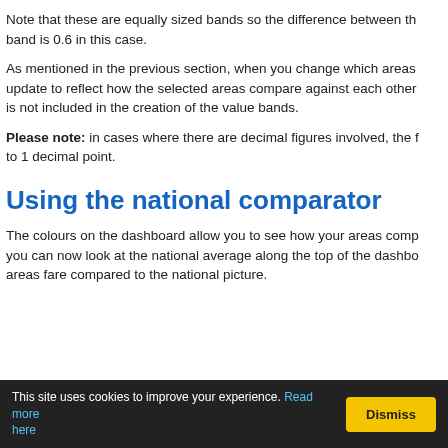Note that these are equally sized bands so the difference between the band is 0.6 in this case.
As mentioned in the previous section, when you change which areas update to reflect how the selected areas compare against each other is not included in the creation of the value bands.
Please note: in cases where there are decimal figures involved, the figures are rounded to 1 decimal point.
Using the national comparator
The colours on the dashboard allow you to see how your areas compare, you can now look at the national average along the top of the dashboard areas fare compared to the national picture.
This site uses cookies to improve your experience. Read more here  Dismiss